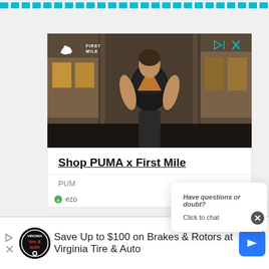[Figure (screenshot): Top decorative cyan dashed/dotted bar at the top of the page]
[Figure (photo): PUMA x First Mile advertisement showing a woman in athletic wear standing in front of a stone building. Puma logo and FIRST MILE text visible in upper left. Ad controls (play and X icons) in upper right.]
Shop PUMA x First Mile
PUM
ezo
[Figure (screenshot): Chat popup overlay with text: Have questions or doubt? Click to chat]
Have questions or doubt?
Click to chat
[Figure (screenshot): Bottom banner advertisement: Virginia Tire & Auto ad with logo, text Save Up to $100 on Brakes & Rotors at Virginia Tire & Auto, and blue navigation badge]
Save Up to $100 on Brakes & Rotors at Virginia Tire & Auto